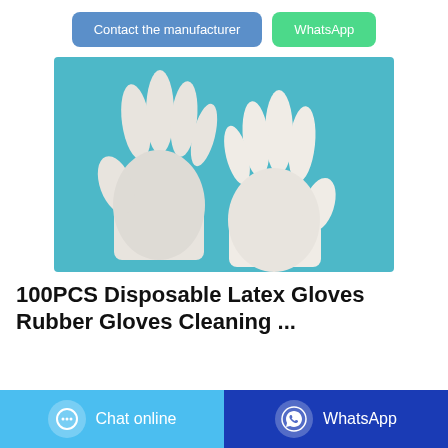Contact the manufacturer | WhatsApp
[Figure (photo): Two white disposable latex gloves laid flat on a blue background, showing the front and back of the gloves.]
100PCS Disposable Latex Gloves Rubber Gloves Cleaning ...
Chat online | WhatsApp